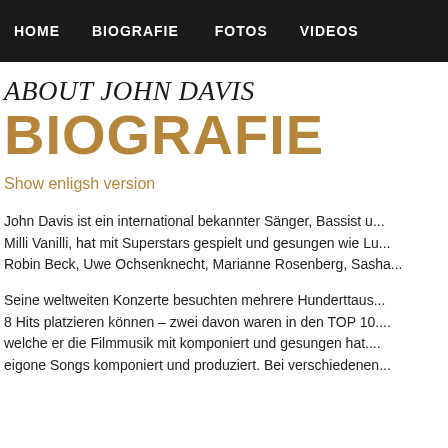HOME   BIOGRAFIE   FOTOS   VIDEOS
ABOUT JOHN DAVIS
BIOGRAFIE
Show enligsh version
John Davis ist ein international bekannter Sänger, Bassist u... Milli Vanilli, hat mit Superstars gespielt und gesungen wie Lu... Robin Beck, Uwe Ochsenknecht, Marianne Rosenberg, Sasha...
Seine weltweiten Konzerte besuchten mehrere Hunderttaus... 8 Hits platzieren können – zwei davon waren in den TOP 10. welche er die Filmmusik mit komponiert und gesungen hat. eigone Songs komponiert und produziert. Bei verschiedenen...